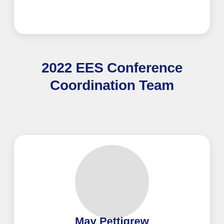[Figure (other): Top white rounded card, partially visible at top of page]
2022 EES Conference Coordination Team
[Figure (other): White rounded card with circular avatar placeholder and person name 'May Pettigrew' at the bottom]